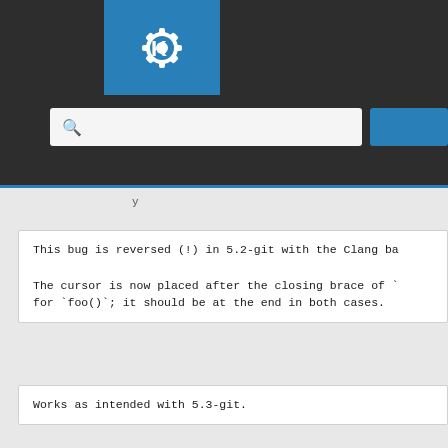[Figure (screenshot): KDE website header with logo, dark background, search bar with magnifying glass icon, and blue search button]
This bug is reversed (!) in 5.2-git with the Clang ba

The cursor is now placed after the closing brace of `
for `foo()`; it should be at the end in both cases.
Works as intended with 5.3-git.